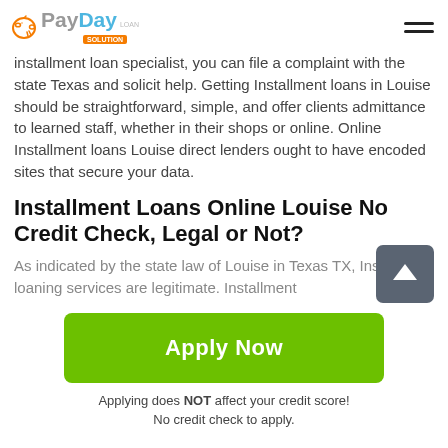PayDay Loan Solution
installment loan specialist, you can file a complaint with the state Texas and solicit help. Getting Installment loans in Louise should be straightforward, simple, and offer clients admittance to learned staff, whether in their shops or online. Online Installment loans Louise direct lenders ought to have encoded sites that secure your data.
Installment Loans Online Louise No Credit Check, Legal or Not?
As indicated by the state law of Louise in Texas TX, Installment loaning services are legitimate. Installment
Apply Now
Applying does NOT affect your credit score!
No credit check to apply.